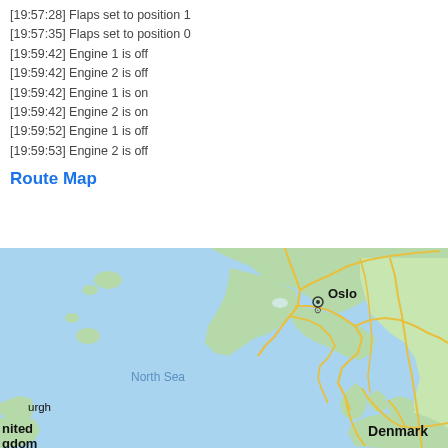[19:57:28] Flaps set to position 1
[19:57:35] Flaps set to position 0
[19:59:42] Engine 1 is off
[19:59:42] Engine 2 is off
[19:59:42] Engine 1 is on
[19:59:42] Engine 2 is on
[19:59:52] Engine 1 is off
[19:59:53] Engine 2 is off
Route Map
[Figure (map): Map showing North Sea region including Norway (Oslo labeled), Denmark, and United Kingdom (Edinburgh partially visible). Green land masses with yellow roads/highways, blue sea. 'North Sea' labeled in the center of the map. 'Denmark' labeled in bold at the bottom right.]